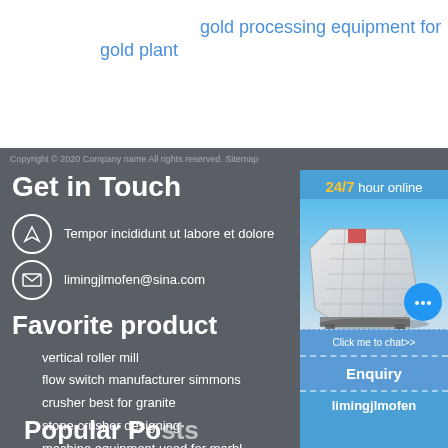gold processing equipment for gold plant
Copyright © 2020 Company name All rights reserved. Sitemap
Get in Touch
Tempor incididunt ut labore et dolore
limingjlmofen@sina.com
Favorite product
vertical roller mill
flow switch manufacturer simmons
crusher best for granite
stone crusher designing
machine equipment used for marble
prises of an industrial grinder
[Figure (screenshot): Right-side panel with blue background showing machine image, 24/7 hour online text, Click me to chat>> button, Enquiry section, and limingjlmofen label]
Popular Posts